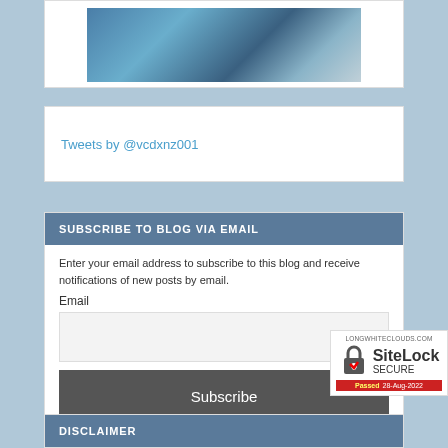[Figure (photo): Blue stones and rocks, partially visible at top of page]
Tweets by @vcdxnz001
SUBSCRIBE TO BLOG VIA EMAIL
Enter your email address to subscribe to this blog and receive notifications of new posts by email.
Email
[Figure (screenshot): Subscribe button (dark grey)]
DISCLAIMER
[Figure (logo): SiteLock SECURE badge - LONGWHITECLOUDS.COM - Passed 28-Aug-2022]